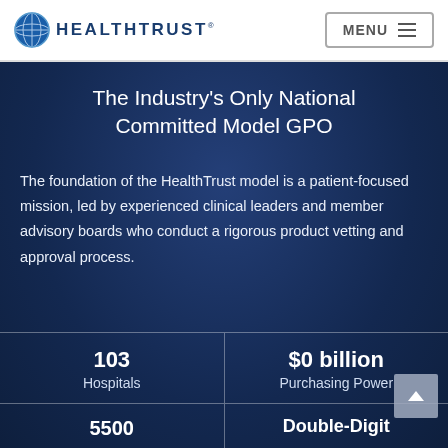HEALTHTRUST
The Industry's Only National Committed Model GPO
The foundation of the HealthTrust model is a patient-focused mission, led by experienced clinical leaders and member advisory boards who conduct a rigorous product vetting and approval process.
103 Hospitals
$0 billion Purchasing Power
5500
Double-Digit